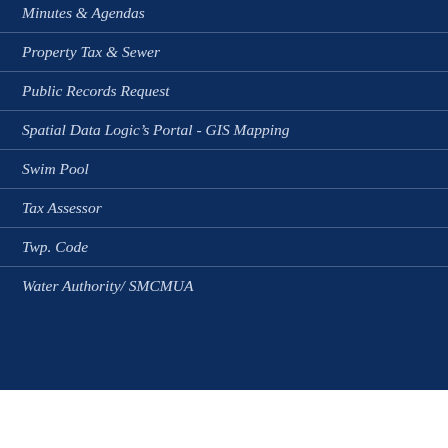Minutes & Agendas
Property Tax & Sewer
Public Records Request
Spatial Data Logic's Portal - GIS Mapping
Swim Pool
Tax Assessor
Twp. Code
Water Authority/ SMCMUA